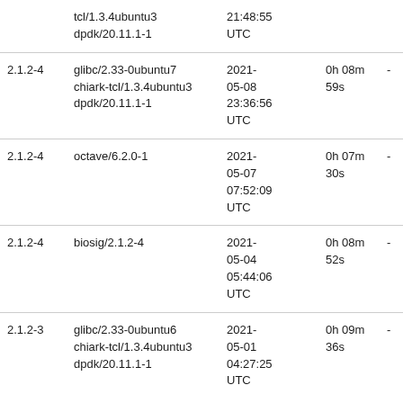|  | tcl/1.3.4ubuntu3
dpdk/20.11.1-1 | 21:48:55
UTC |  |  |
| 2.1.2-4 | glibc/2.33-0ubuntu7
chiark-tcl/1.3.4ubuntu3
dpdk/20.11.1-1 | 2021-05-08
23:36:56
UTC | 0h 08m 59s | - |
| 2.1.2-4 | octave/6.2.0-1 | 2021-05-07
07:52:09
UTC | 0h 07m 30s | - |
| 2.1.2-4 | biosig/2.1.2-4 | 2021-05-04
05:44:06
UTC | 0h 08m 52s | - |
| 2.1.2-3 | glibc/2.33-0ubuntu6
chiark-tcl/1.3.4ubuntu3
dpdk/20.11.1-1 | 2021-05-01
04:27:25
UTC | 0h 09m 36s | - |